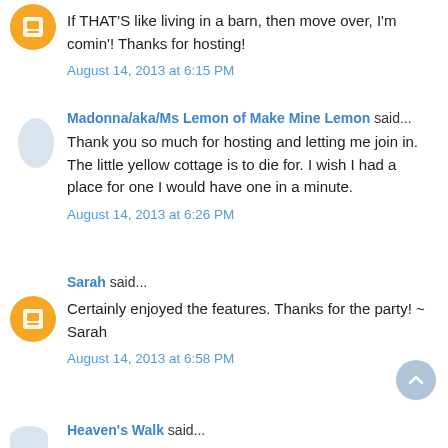If THAT'S like living in a barn, then move over, I'm comin'! Thanks for hosting!
August 14, 2013 at 6:15 PM
Madonna/aka/Ms Lemon of Make Mine Lemon said...
Thank you so much for hosting and letting me join in. The little yellow cottage is to die for. I wish I had a place for one I would have one in a minute.
August 14, 2013 at 6:26 PM
Sarah said...
Certainly enjoyed the features. Thanks for the party! ~ Sarah
August 14, 2013 at 6:58 PM
Heaven's Walk said...